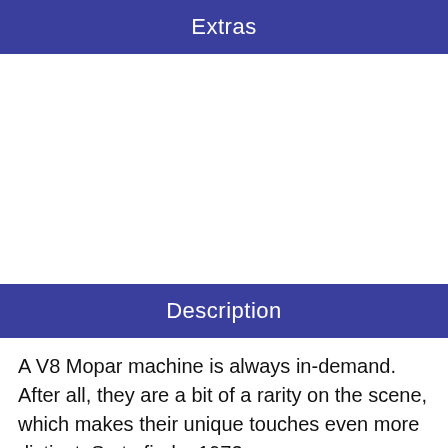Extras
Description
A V8 Mopar machine is always in-demand. After all, they are a bit of a rarity on the scene, which makes their unique touches even more distinct. So to find a 1973